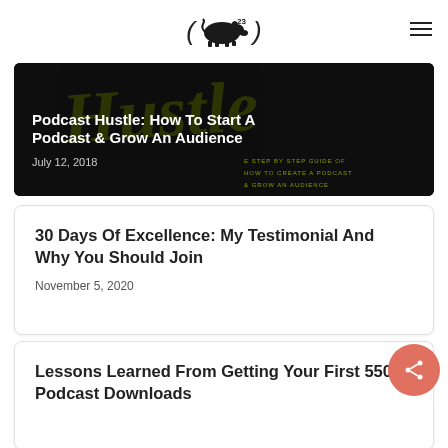( pig 23 ) navigation logo with hamburger menu
[Figure (photo): Dark background image with olive/yellow stylized 'Hustle' text, overlaid with white title text and step-by-step guide text]
Podcast Hustle: How To Start A Podcast & Grow An Audience
July 12, 2018
30 Days Of Excellence: My Testimonial And Why You Should Join
November 5, 2020
Lessons Learned From Getting Your First 5500 Podcast Downloads